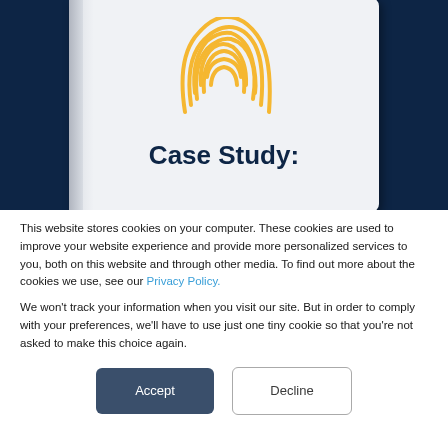[Figure (illustration): Book cover with a golden fingerprint icon on a light gray background, displayed against a dark navy background. The cover shows 'Case Study:' text at the bottom.]
Case Study:
This website stores cookies on your computer. These cookies are used to improve your website experience and provide more personalized services to you, both on this website and through other media. To find out more about the cookies we use, see our Privacy Policy.
We won't track your information when you visit our site. But in order to comply with your preferences, we'll have to use just one tiny cookie so that you're not asked to make this choice again.